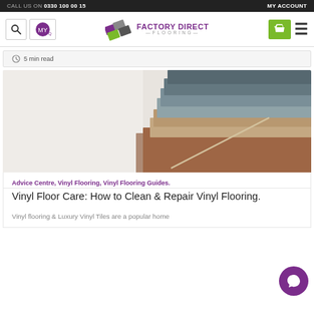CALL US ON 0330 100 00 15 | MY ACCOUNT
[Figure (logo): Factory Direct Flooring logo with coloured tile squares]
5 min read
[Figure (photo): Stacked vinyl flooring tile samples in various colours including blue-grey, tan, and brown/wood tones]
Advice Centre, Vinyl Flooring, Vinyl Flooring Guides.
Vinyl Floor Care: How to Clean & Repair Vinyl Flooring.
Vinyl flooring & Luxury Vinyl Tiles are a popular home